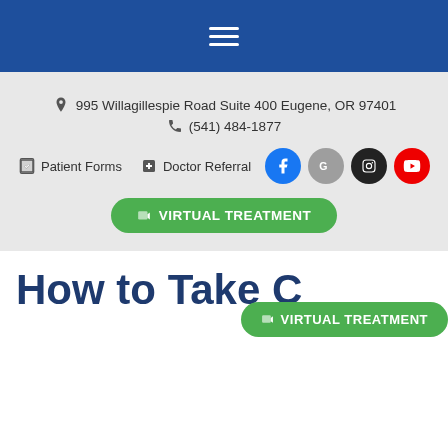Navigation menu (hamburger icon)
995 Willagillespie Road Suite 400 Eugene, OR 97401
(541) 484-1877
Patient Forms   Doctor Referral
VIRTUAL TREATMENT
How to Take Care of Your